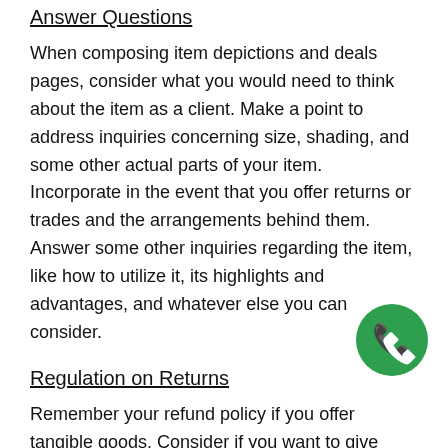Answer Questions
When composing item depictions and deals pages, consider what you would need to think about the item as a client. Make a point to address inquiries concerning size, shading, and some other actual parts of your item. Incorporate in the event that you offer returns or trades and the arrangements behind them. Answer some other inquiries regarding the item, like how to utilize it, its highlights and advantages, and whatever else you can consider.
[Figure (other): Green circle button with white phone/call icon]
Regulation on Returns
Remember your refund policy if you offer tangible goods. Consider if you want to give